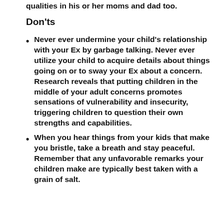qualities in his or her moms and dad too.
Don'ts
Never ever undermine your child's relationship with your Ex by garbage talking. Never ever utilize your child to acquire details about things going on or to sway your Ex about a concern. Research reveals that putting children in the middle of your adult concerns promotes sensations of vulnerability and insecurity, triggering children to question their own strengths and capabilities.
When you hear things from your kids that make you bristle, take a breath and stay peaceful. Remember that any unfavorable remarks your children make are typically best taken with a grain of salt.